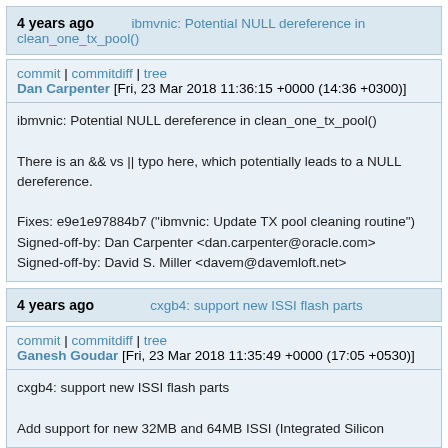4 years ago   ibmvnic: Potential NULL dereference in clean_one_tx_pool()
commit | commitdiff | tree
Dan Carpenter [Fri, 23 Mar 2018 11:36:15 +0000 (14:36 +0300)]
ibmvnic: Potential NULL dereference in clean_one_tx_pool()

There is an && vs || typo here, which potentially leads to a NULL dereference.

Fixes: e9e1e97884b7 ("ibmvnic: Update TX pool cleaning routine")
Signed-off-by: Dan Carpenter <dan.carpenter@oracle.com>
Signed-off-by: David S. Miller <davem@davemloft.net>
4 years ago   cxgb4: support new ISSI flash parts
commit | commitdiff | tree
Ganesh Goudar [Fri, 23 Mar 2018 11:35:49 +0000 (17:05 +0530)]
cxgb4: support new ISSI flash parts

Add support for new 32MB and 64MB ISSI (Integrated Silicon